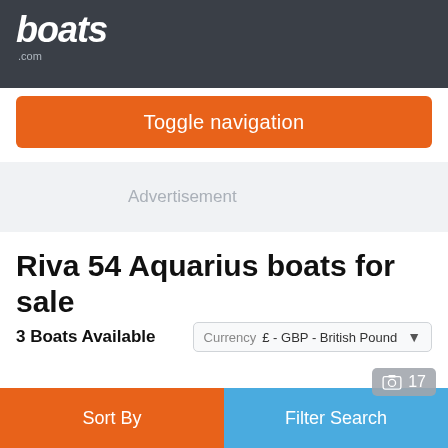boats.com
Toggle navigation
Advertisement
Riva 54 Aquarius boats for sale
3 Boats Available   Currency £ - GBP - British Pound
[Figure (photo): Partial view of a boat listing thumbnail image, grey/blue toned]
17 (photo count)
Sort By
Filter Search